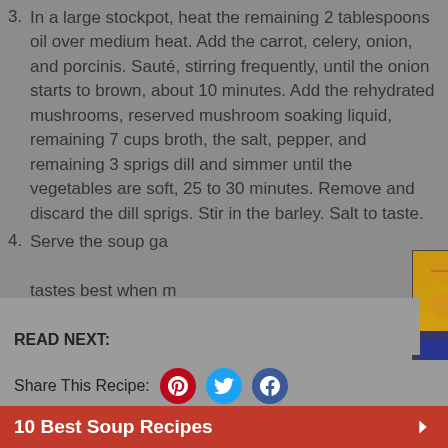3. In a large stockpot, heat the remaining 2 tablespoons oil over medium heat. Add the carrot, celery, onion, and porcinis. Sauté, stirring frequently, until the onion starts to brown, about 10 minutes. Add the rehydrated mushrooms, reserved mushroom soaking liquid, remaining 7 cups broth, the salt, pepper, and remaining 3 sprigs dill and simmer until the vegetables are soft, 25 to 30 minutes. Remove and discard the dill sprigs. Stir in the barley. Salt to taste.
4. Serve the soup garnished with the reserved fresh dill; it tastes best when made...
[Figure (screenshot): Video overlay showing a baking dish of Cheesy Tater Tot Casserole with video playback controls (skip back, play, skip forward), mute icon, progress dot, and title text 'CHEESY TATER TOT CASSEROLE' in white bold text.]
READ NEXT:
Share This Recipe:
Search for